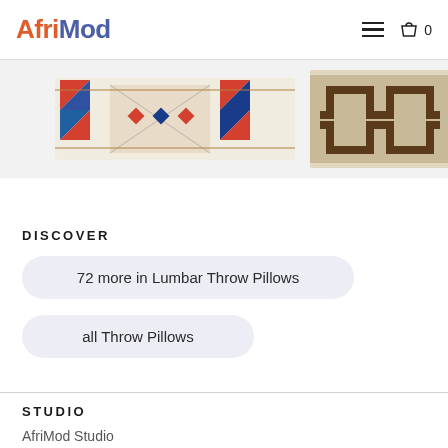AfriMod
[Figure (photo): Three lumbar throw pillows displayed horizontally: left pillow has colorful African geometric pattern in red, blue, white; center pillow has brown/tan abstract pattern on cream background; right pillow is partially visible with black and white pattern.]
DISCOVER
72 more in Lumbar Throw Pillows
all Throw Pillows
STUDIO
AfriMod Studio